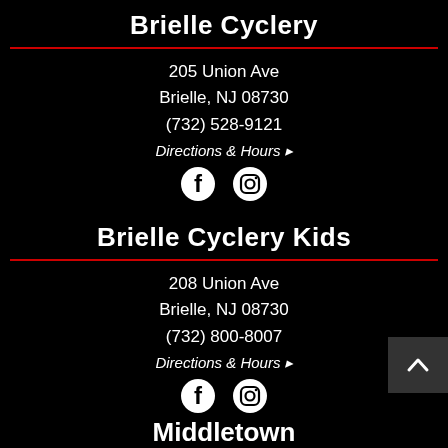Brielle Cyclery
205 Union Ave
Brielle, NJ 08730
(732) 528-9121
Directions & Hours ▸
[Figure (illustration): Facebook and Instagram social media icons]
Brielle Cyclery Kids
208 Union Ave
Brielle, NJ 08730
(732) 800-8007
Directions & Hours ▸
[Figure (illustration): Facebook and Instagram social media icons]
Middletown